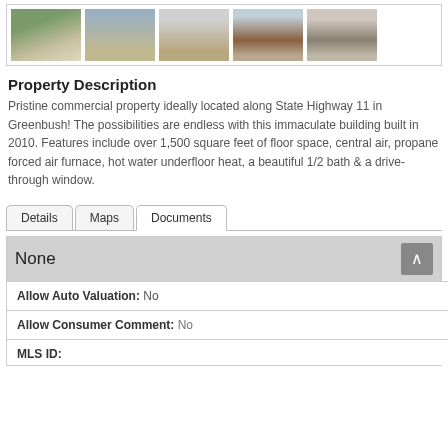[Figure (photo): Strip of 5 property photos showing exterior and interior of commercial building]
Property Description
Pristine commercial property ideally located along State Highway 11 in Greenbush! The possibilities are endless with this immaculate building built in 2010. Features include over 1,500 square feet of floor space, central air, propane forced air furnace, hot water underfloor heat, a beautiful 1/2 bath & a drive-through window.
Tabs: Details | Maps | Documents
| Field | Value |
| --- | --- |
| Allow Auto Valuation: | No |
| Allow Consumer Comment: | No |
| MLS ID: | ... |